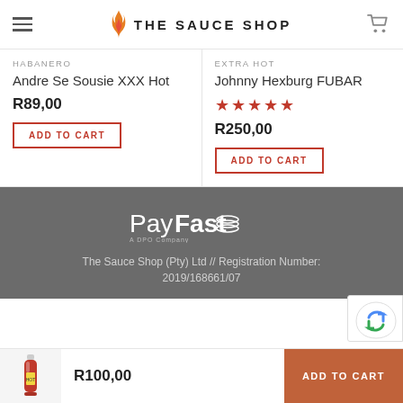THE SAUCE SHOP
HABANERO
Andre Se Sousie XXX Hot
R89,00
ADD TO CART
EXTRA HOT
Johnny Hexburg FUBAR
★★★★★
R250,00
ADD TO CART
[Figure (logo): PayFast - A DPO Company logo in white on grey background]
The Sauce Shop (Pty) Ltd // Registration Number: 2019/168661/07
R100,00
ADD TO CART